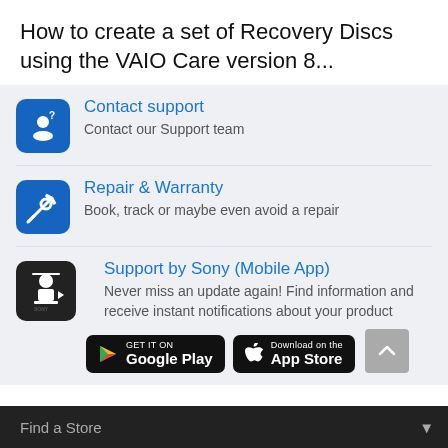How to create a set of Recovery Discs using the VAIO Care version 8...
Contact support — Contact our Support team
Repair & Warranty — Book, track or maybe even avoid a repair
Support by Sony (Mobile App) — Never miss an update again! Find information and receive instant notifications about your product
[Figure (other): Google Play and App Store download buttons, plus scroll-to-top button]
Find a Store